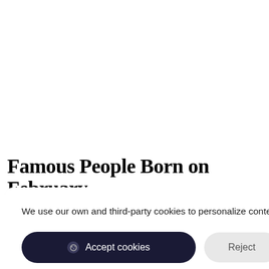Famous People Born on February
We use our own and third-party cookies to personalize content and to analyze web traffic. Read more about cookies
Accept cookies | Reject